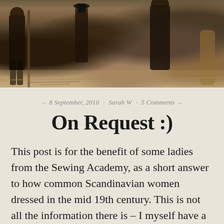[Figure (illustration): A historical painting showing figures in a scene, with warm brown and dark tones, appearing to depict people in 19th century settings.]
– 8 September, 2010 · Sarah W · 5 Comments –
On Request :)
This post is for the benefit of some ladies from the Sewing Academy, as a short answer to how common Scandinavian women dressed in the mid 19th century. This is not all the information there is – I myself have a lot of unanswered questions, but still: here